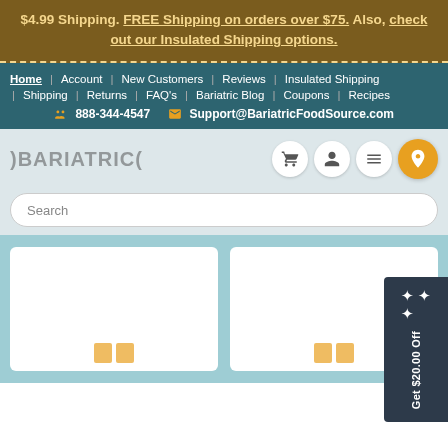$4.99 Shipping. FREE Shipping on orders over $75. Also, check out our Insulated Shipping options.
Home | Account | New Customers | Reviews | Insulated Shipping | Shipping | Returns | FAQ's | Bariatric Blog | Coupons | Recipes
888-344-4547  Support@BariatricFoodSource.com
[Figure (logo): Bariatric Food Source logo with cart, user, and menu icons]
Search
[Figure (screenshot): Product cards on teal background with orange placeholder icons]
Get $20.00 Off